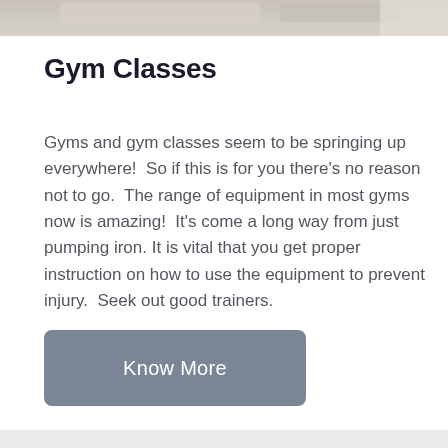[Figure (photo): Partial photo strip at the top of the page showing a blurred background scene, likely a gym or exercise setting]
Gym Classes
Gyms and gym classes seem to be springing up everywhere!  So if this is for you there's no reason not to go.  The range of equipment in most gyms now is amazing!  It's come a long way from just pumping iron. It is vital that you get proper instruction on how to use the equipment to prevent injury.  Seek out good trainers.
Know More